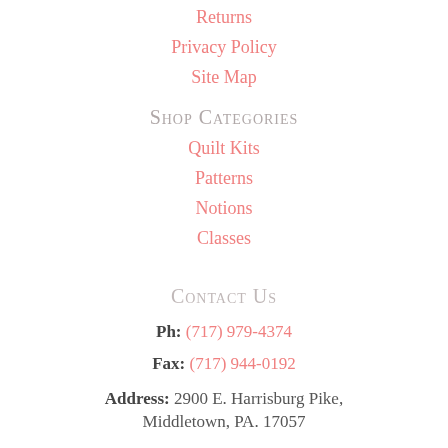Returns
Privacy Policy
Site Map
Shop Categories
Quilt Kits
Patterns
Notions
Classes
Contact Us
Ph: (717) 979-4374
Fax: (717) 944-0192
Address: 2900 E. Harrisburg Pike, Middletown, PA. 17057
Hours: